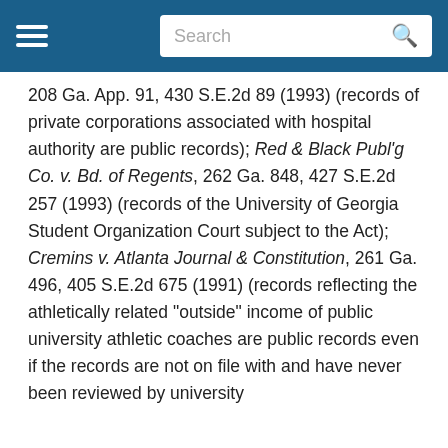Search
208 Ga. App. 91, 430 S.E.2d 89 (1993) (records of private corporations associated with hospital authority are public records); Red & Black Publ'g Co. v. Bd. of Regents, 262 Ga. 848, 427 S.E.2d 257 (1993) (records of the University of Georgia Student Organization Court subject to the Act); Cremins v. Atlanta Journal & Constitution, 261 Ga. 496, 405 S.E.2d 675 (1991) (records reflecting the athletically related "outside" income of public university athletic coaches are public records even if the records are not on file with and have never been reviewed by university